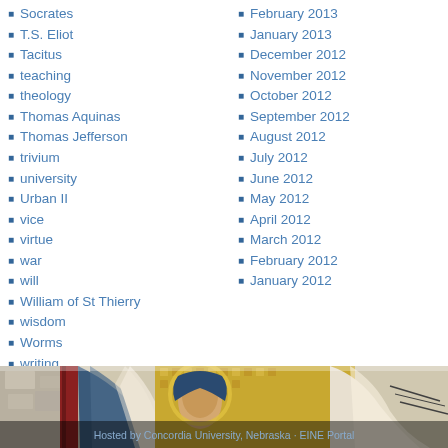Socrates
T.S. Eliot
Tacitus
teaching
theology
Thomas Aquinas
Thomas Jefferson
trivium
university
Urban II
vice
virtue
war
will
William of St Thierry
wisdom
Worms
writing
zeal
February 2013
January 2013
December 2012
November 2012
October 2012
September 2012
August 2012
July 2012
June 2012
May 2012
April 2012
March 2012
February 2012
January 2012
Historia et Memoria
[Figure (photo): Byzantine or medieval mosaic artwork showing a robed figure with golden background, partial view cropped at bottom of page]
Hosted by Concordia University, Nebraska · EINE Portal